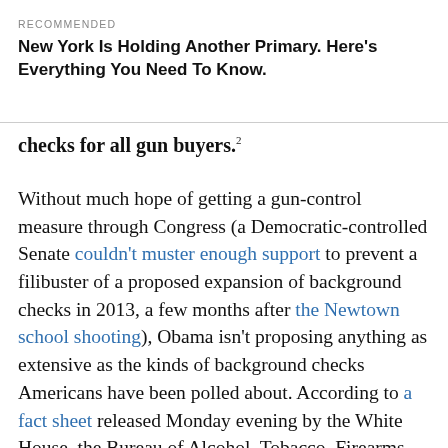RECOMMENDED
New York Is Holding Another Primary. Here’s Everything You Need To Know.
checks for all gun buyers.²
Without much hope of getting a gun-control measure through Congress (a Democratic-controlled Senate couldn’t muster enough support to prevent a filibuster of a proposed expansion of background checks in 2013, a few months after the Newtown school shooting), Obama isn’t proposing anything as extensive as the kinds of background checks Americans have been polled about. According to a fact sheet released Monday evening by the White House, the Bureau of Alcohol, Tobacco, Firearms and Explosives plans to clarify — and in many cases expand — the definition of being “engaged in the business” of selling guns, which is the criterion that determines whether a seller must get a federal license